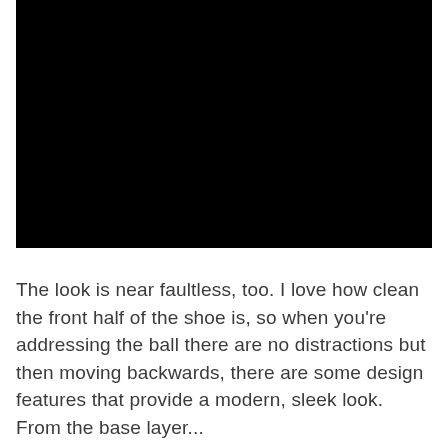[Figure (photo): A predominantly black image, likely a photograph of a shoe or product in very dark/underexposed conditions. The lower portion shows some dark shapes against the black background.]
The look is near faultless, too. I love how clean the front half of the shoe is, so when you’re addressing the ball there are no distractions but then moving backwards, there are some design features that provide a modern, sleek look. From the base layer...